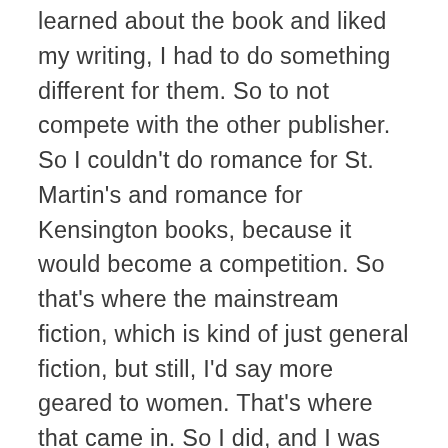learned about the book and liked my writing, I had to do something different for them. So to not compete with the other publisher. So I couldn't do romance for St. Martin's and romance for Kensington books, because it would become a competition. So that's where the mainstream fiction, which is kind of just general fiction, but still, I'd say more geared to women. That's where that came in. So I did, and I was able to sort of pepper my books with some intrigue, and, you know, with some elements of romance, but the romance was not the focal part of the story. But it also allows me like, you know, if I do a romance now that I can do something a little bit different next time. But yeah, I don't know, I don't know if it works fully, because